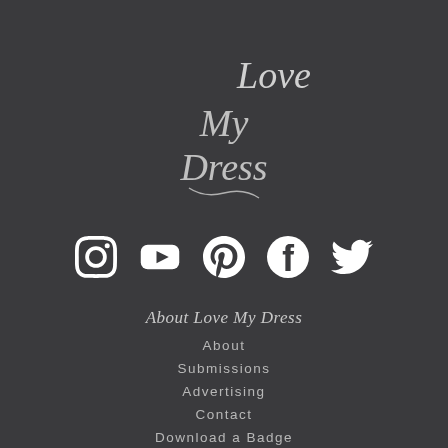[Figure (logo): Love My Dress script logo in white calligraphic lettering on dark background]
[Figure (infographic): Row of 5 social media icons: Instagram, YouTube, Pinterest, Facebook, Twitter — all white on dark background]
About Love My Dress
About
Submissions
Advertising
Contact
Download a Badge